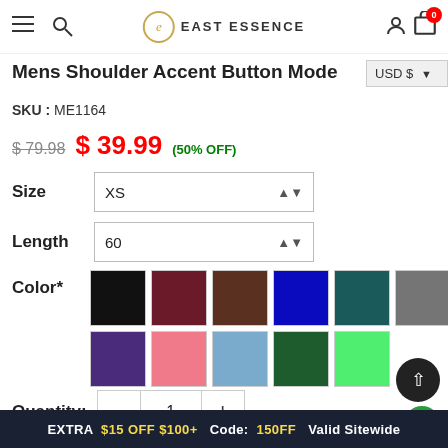East Essence — navigation bar with menu, search, logo, user, cart (0)
Mens Shoulder Accent Button Mode
SKU: ME1164
$79.98  $39.99 (50% OFF)
Size: XS
Length: 60
[Figure (other): Color swatch grid: black, dark red, brown, navy, dark teal, gray (row 1); purple, pink, light blue, dark green, light green (row 2)]
Quantity: 1
Size Chart (Men) ↓
EXTRA $15 OFF $100+ Code: 150FF Valid Sitewide